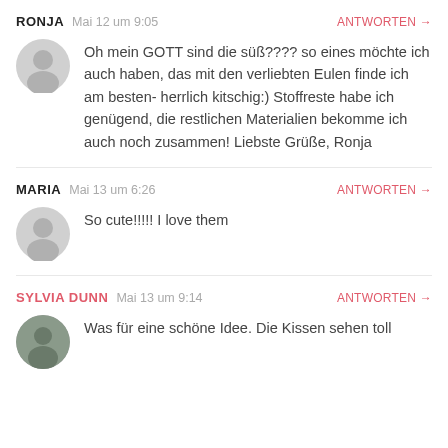RONJA   Mai 12 um 9:05   ANTWORTEN →
Oh mein GOTT sind die süß???? so eines möchte ich auch haben, das mit den verliebten Eulen finde ich am besten- herrlich kitschig:) Stoffreste habe ich genügend, die restlichen Materialien bekomme ich auch noch zusammen! Liebste Grüße, Ronja
MARIA   Mai 13 um 6:26   ANTWORTEN →
So cute!!!!! I love them
SYLVIA DUNN   Mai 13 um 9:14   ANTWORTEN →
Was für eine schöne Idee. Die Kissen sehen toll